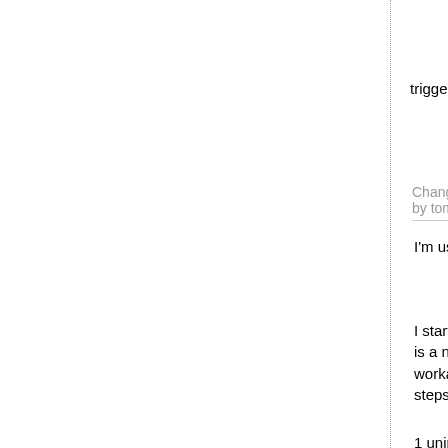sudo kextload -b org
triggers the error :
Executing: /usr/bin/
Error Domain=KMError
Changed 20 months ago   comment:69
by tom_vbox
I'm using modified SIP settings:
csrutil enable --wit
I started trying this from scratch and don't know if this is a nice or good workaround, but I found a workaround that can be reproduced with the following steps on macOS 11.1:
1 uninstall virtualbox with the uninstall script
2 reboot
3 install latest VirtualBox-6.1.17-xxx test version, 6.1.16 does not work